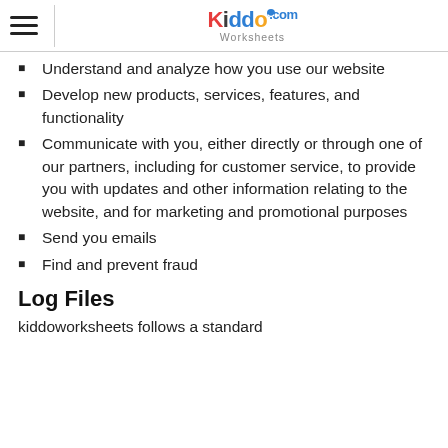KiddoWorksheets.com
Understand and analyze how you use our website
Develop new products, services, features, and functionality
Communicate with you, either directly or through one of our partners, including for customer service, to provide you with updates and other information relating to the website, and for marketing and promotional purposes
Send you emails
Find and prevent fraud
Log Files
kiddoworksheets follows a standard